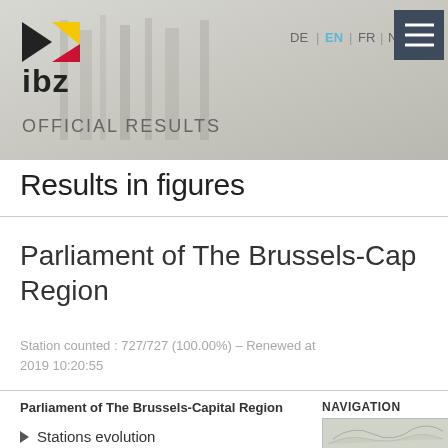[Figure (logo): IBZ logo with black and yellow/red triangles]
OFFICIAL RESULTS
DE | EN | FR | NL |
Results in figures
Parliament of The Brussels-Cap Region
Station counted : 727/727 (100.00%) – Renewed at 2019 10:20:55
Parliament of The Brussels-Capital Region
Stations evolution